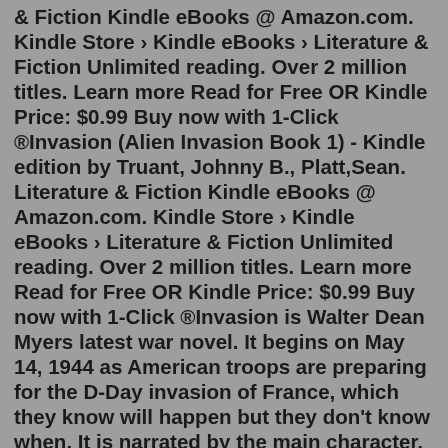& Fiction Kindle eBooks @ Amazon.com. Kindle Store › Kindle eBooks › Literature & Fiction Unlimited reading. Over 2 million titles. Learn more Read for Free OR Kindle Price: $0.99 Buy now with 1-Click ®Invasion (Alien Invasion Book 1) - Kindle edition by Truant, Johnny B., Platt,Sean. Literature & Fiction Kindle eBooks @ Amazon.com. Kindle Store › Kindle eBooks › Literature & Fiction Unlimited reading. Over 2 million titles. Learn more Read for Free OR Kindle Price: $0.99 Buy now with 1-Click ®Invasion is Walter Dean Myers latest war novel. It begins on May 14, 1944 as American troops are preparing for the D-Day invasion of France, which they know will happen but they don't know when. It is narrated by the main character, Josiah "Woody" Wedgewood, who is with the 29th Infantry Division. Jul 27, 2022 · Hell, the release date for the book may change before the end of the week back to the more vague 'December 31.' Store leaks aren't uncommon, and they're not always accurate. The invasion has begun. With its mix of high school, space